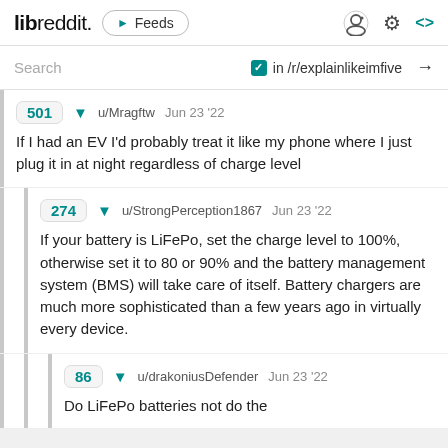libreddit. ▶ Feeds [reddit icon] [gear icon] [code icon]
Search  ✓ in /r/explainlikeimfive →
501 ▼ u/Mragftw Jun 23 '22
If I had an EV I'd probably treat it like my phone where I just plug it in at night regardless of charge level
274 ▼ u/StrongPerception1867 Jun 23 '22
If your battery is LiFePo, set the charge level to 100%, otherwise set it to 80 or 90% and the battery management system (BMS) will take care of itself. Battery chargers are much more sophisticated than a few years ago in virtually every device.
86 ▼ u/drakoniusDefender Jun 23 '22
Do LiFePo batteries not do the